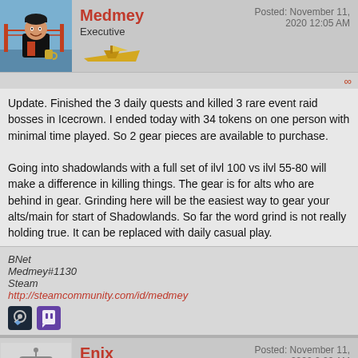[Figure (illustration): User avatar of Medmey - cartoon person in front of Golden Gate Bridge]
Medmey
Executive
Posted: November 11, 2020 12:05 AM
Update. Finished the 3 daily quests and killed 3 rare event raid bosses in Icecrown. I ended today with 34 tokens on one person with minimal time played. So 2 gear pieces are available to purchase.

Going into shadowlands with a full set of ilvl 100 vs ilvl 55-80 will make a difference in killing things. The gear is for alts who are behind in gear. Grinding here will be the easiest way to gear your alts/main for start of Shadowlands. So far the word grind is not really holding true. It can be replaced with daily casual play.
BNet
Medmey#1130
Steam
http://steamcommunity.com/id/medmey
[Figure (illustration): Steam and Twitch social media icons]
[Figure (illustration): User avatar of Enix - robot/cartoon character]
Enix
Posted: November 11, 2020 2:09 AM
What will it be like when I get old?